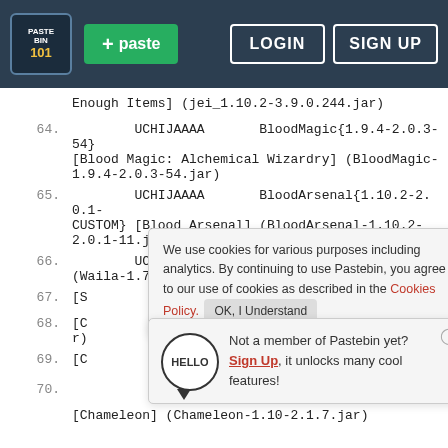Pastebin header with logo, paste button, LOGIN and SIGN UP
Enough Items] (jei_1.10.2-3.9.0.244.jar)
64.    UCHIJAAAA    BloodMagic{1.9.4-2.0.3-54} [Blood Magic: Alchemical Wizardry] (BloodMagic-1.9.4-2.0.3-54.jar)
65.    UCHIJAAAA    BloodArsenal{1.10.2-2.0.1-CUSTOM} [Blood Arsenal] (BloodArsenal-1.10.2-2.0.1-11.jar)
66.    UCHIJAAAA    Waila{1.7.0} [Waila] (Waila-1.7.0-R3_1.9.4 (1).jar)
67.    [S
68.    [C...] (Calculator-1.10...jar)
69.    [C
70.    [Chameleon] (Chameleon-1.10-2.1.7.jar)
We use cookies for various purposes including analytics. By continuing to use Pastebin, you agree to our use of cookies as described in the Cookies Policy. OK, I Understand
Not a member of Pastebin yet? Sign Up, it unlocks many cool features!